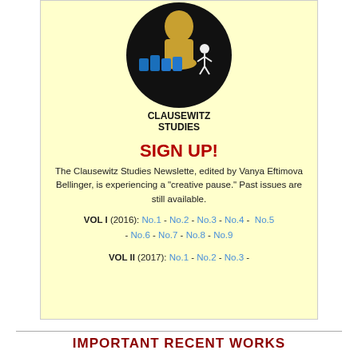[Figure (logo): Clausewitz Studies logo: circular black background with golden bust of Clausewitz, blue 3D 'NEWS' text and small white figure, with 'CLAUSEWITZ STUDIES' text below in black]
SIGN UP!
The Clausewitz Studies Newslette, edited by Vanya Eftimova Bellinger, is experiencing a "creative pause." Past issues are still available.
VOL I (2016): No.1 - No.2 - No.3 - No.4 - No.5 - No.6 - No.7 - No.8 - No.9
VOL II (2017): No.1 - No.2 - No.3 -
IMPORTANT RECENT WORKS